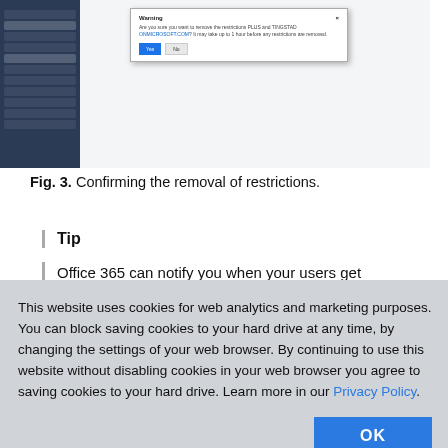[Figure (screenshot): Screenshot of Office 365 admin interface showing a Warning dialog box asking to confirm removal of restrictions, with Yes and No buttons. Left sidebar shows navigation items, main content area is visible in background.]
Fig. 3. Confirming the removal of restrictions.
Tip
Office 365 can notify you when your users get
This website uses cookies for web analytics and marketing purposes. You can block saving cookies to your hard drive at any time, by changing the settings of your web browser. By continuing to use this website without disabling cookies in your web browser you agree to saving cookies to your hard drive. Learn more in our Privacy Policy.
[Figure (screenshot): Partial screenshot at bottom of page, partially obscured by cookie overlay.]